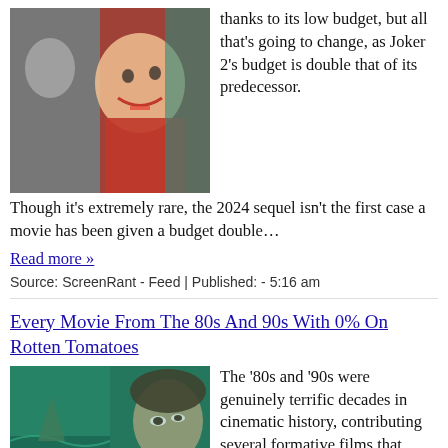[Figure (photo): Photo of a person in Joker makeup wearing red costume, close-up face shot with teal background figures]
thanks to its low budget, but all that's going to change, as Joker 2's budget is double that of its predecessor. Though it's extremely rare, the 2024 sequel isn't the first case a movie has been given a budget double…
Read more »
Source: ScreenRant - Feed | Published: - 5:16 am
Every Movie From The 80s And 90s With 0% On Rotten Tomatoes
[Figure (photo): Composite photo showing a shark fin in green-tinted water on the left, and a close-up of a woman's face looking upward on the right, green tinted]
The '80s and '90s were genuinely terrific decades in cinematic history, contributing several formative films that